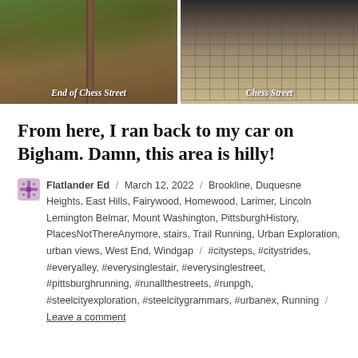[Figure (photo): Two side-by-side photos. Left: forest floor with a wooden pole, fallen leaves, labeled 'End of Chess Street'. Right: cobblestone street labeled 'Chess Street'.]
End of Chess Street
Chess Street
From here, I ran back to my car on Bigham. Damn, this area is hilly!
Flatlander Ed / March 12, 2022 / Brookline, Duquesne Heights, East Hills, Fairywood, Homewood, Larimer, Lincoln Lemington Belmar, Mount Washington, PittsburghHistory, PlacesNotThereAnymore, stairs, Trail Running, Urban Exploration, urban views, West End, Windgap / #citysteps, #citystrides, #everyalley, #everysinglestair, #everysinglestreet, #pittsburghrunning, #runallthestreets, #runpgh, #steelcityexploration, #steelcitygrammars, #urbanex, Running / Leave a comment